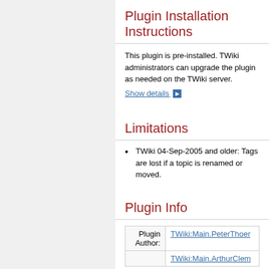Plugin Installation Instructions
This plugin is pre-installed. TWiki administrators can upgrade the plugin as needed on the TWiki server.
Show details ▶
Limitations
TWiki 04-Sep-2005 and older: Tags are lost if a topic is renamed or moved.
Plugin Info
|  |  |
| --- | --- |
| Plugin Author: | TWiki:Main.PeterThoer |
|  | TWiki:Main.ArthurClem |